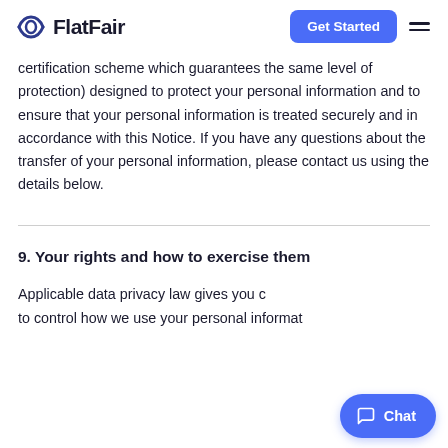FlatFair
certification scheme which guarantees the same level of protection) designed to protect your personal information and to ensure that your personal information is treated securely and in accordance with this Notice. If you have any questions about the transfer of your personal information, please contact us using the details below.
9. Your rights and how to exercise them
Applicable data privacy law gives you certain rights to control how we use your personal information